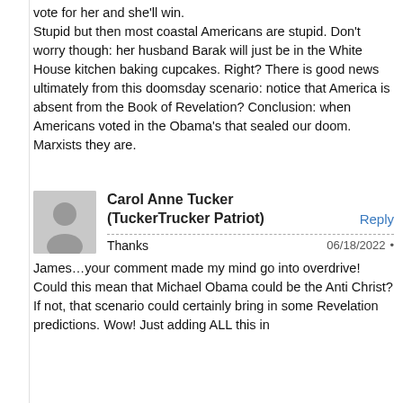vote for her and she'll win. Stupid but then most coastal Americans are stupid. Don't worry though: her husband Barak will just be in the White House kitchen baking cupcakes. Right? There is good news ultimately from this doomsday scenario: notice that America is absent from the Book of Revelation? Conclusion: when Americans voted in the Obama's that sealed our doom. Marxists they are.
[Figure (illustration): Gray placeholder avatar silhouette icon for user Carol Anne Tucker (TuckerTrucker Patriot)]
Carol Anne Tucker (TuckerTrucker Patriot)
Reply
06/18/2022 •  Thanks
James…your comment made my mind go into overdrive!
Could this mean that Michael Obama could be the Anti Christ? If not, that scenario could certainly bring in some Revelation predictions. Wow! Just adding ALL this in